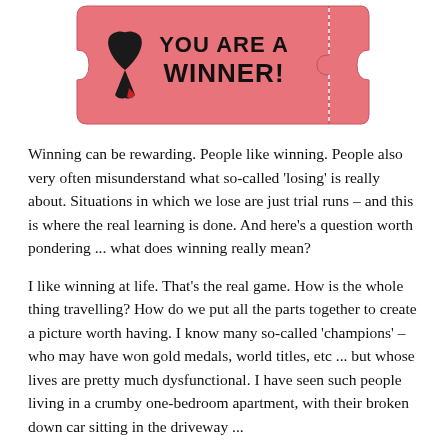[Figure (illustration): A pink raffle/lottery ticket with the text 'YOU ARE A WINNER!' in bold black letters, a ribbon/awareness symbol on the left, and the number '34583789' printed vertically on the right stub.]
Winning can be rewarding. People like winning. People also very often misunderstand what so-called 'losing' is really about. Situations in which we lose are just trial runs – and this is where the real learning is done. And here's a question worth pondering ... what does winning really mean?
I like winning at life. That's the real game. How is the whole thing travelling? How do we put all the parts together to create a picture worth having. I know many so-called 'champions' – who may have won gold medals, world titles, etc ... but whose lives are pretty much dysfunctional. I have seen such people living in a crumby one-bedroom apartment, with their broken down car sitting in the driveway ... and their relationships in a ...